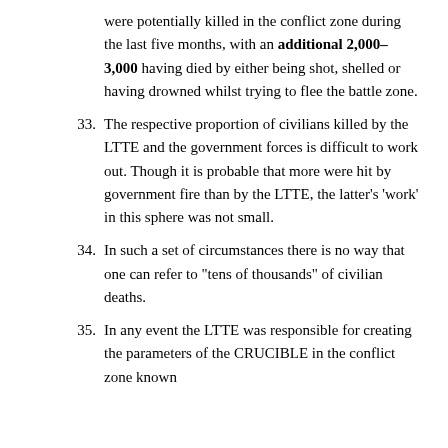(continuation) were potentially killed in the conflict zone during the last five months, with an additional 2,000–3,000 having died by either being shot, shelled or having drowned whilst trying to flee the battle zone.
33. The respective proportion of civilians killed by the LTTE and the government forces is difficult to work out. Though it is probable that more were hit by government fire than by the LTTE, the latter’s ‘work’ in this sphere was not small.
34. In such a set of circumstances there is no way that one can refer to “tens of thousands” of civilian deaths.
35. In any event the LTTE was responsible for creating the parameters of the CRUCIBLE in the conflict zone known